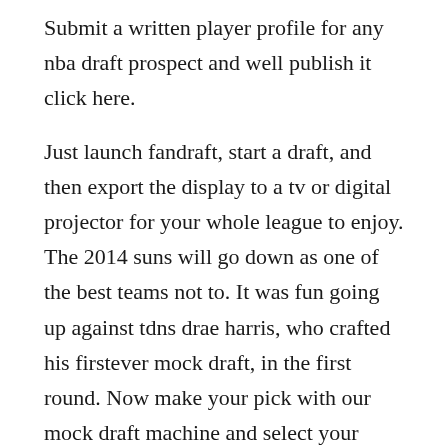Submit a written player profile for any nba draft prospect and well publish it click here.
Just launch fandraft, start a draft, and then export the display to a tv or digital projector for your whole league to enjoy. The 2014 suns will go down as one of the best teams not to. It was fun going up against tdns drae harris, who crafted his firstever mock draft, in the first round. Now make your pick with our mock draft machine and select your teams future stars. Win a free wnba authentic jersey of your choice if you have the most accurate